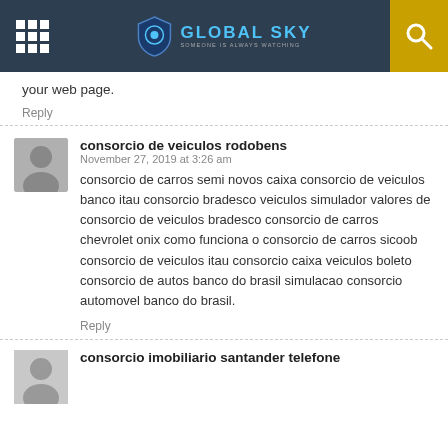GLOBAL SKY — SOMEONE IS ALWAYS WATCHING
your web page.
Reply
consorcio de veiculos rodobens
November 27, 2019 at 3:26 am
consorcio de carros semi novos caixa consorcio de veiculos banco itau consorcio bradesco veiculos simulador valores de consorcio de veiculos bradesco consorcio de carros chevrolet onix como funciona o consorcio de carros sicoob consorcio de veiculos itau consorcio caixa veiculos boleto consorcio de autos banco do brasil simulacao consorcio automovel banco do brasil.
Reply
consorcio imobiliario santander telefone